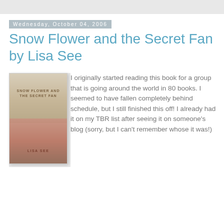Wednesday, October 04, 2006
Snow Flower and the Secret Fan by Lisa See
[Figure (illustration): Book cover of 'Snow Flower and the Secret Fan' by Lisa See, showing a sepia-toned sky background with pink cherry blossoms in the lower portion]
I originally started reading this book for a group that is going around the world in 80 books. I seemed to have fallen completely behind schedule, but I still finished this off! I already had it on my TBR list after seeing it on someone's blog (sorry, but I can't remember whose it was!)